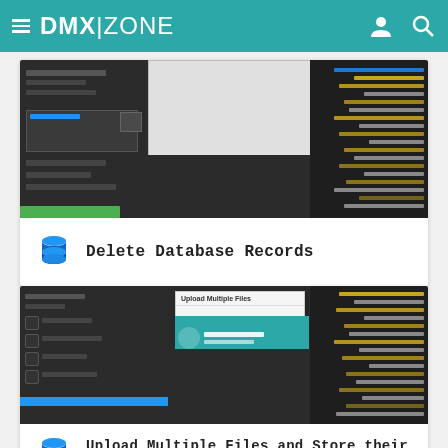DMX|ZONE
[Figure (screenshot): Dark IDE/Dreamweaver screenshot showing database form and code editor panels]
Delete Database Records
[Figure (screenshot): Dark IDE screenshot with Upload Multiple Files modal dialog and teal DMXzone banner]
Upload Multiple Files and Store their Names in t...